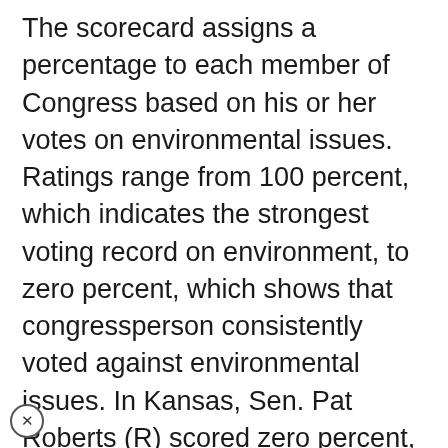The scorecard assigns a percentage to each member of Congress based on his or her votes on environmental issues. Ratings range from 100 percent, which indicates the strongest voting record on environment, to zero percent, which shows that congressperson consistently voted against environmental issues. In Kansas, Sen. Pat Roberts (R) scored zero percent, Sen. Sam Brownback (R) received a rating of 33 percent, and Rep. Dennis Moore (D) earned an 81 percent. Members from Missouri fared worse, with both Sens. John Ashcroft (R) and Kit Bond (D) receiving zero percent, with Rep. Pat Danner (D) scoring 31 percent and Rep. Karen McCarthy (D) earning 81 percent.